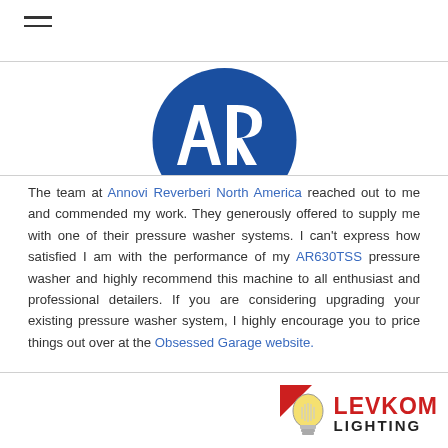≡ (hamburger menu icon)
[Figure (logo): Annovi Reverberi (AR) blue circular logo with white AR letters]
The team at Annovi Reverberi North America reached out to me and commended my work. They generously offered to supply me with one of their pressure washer systems. I can't express how satisfied I am with the performance of my AR630TSS pressure washer and highly recommend this machine to all enthusiast and professional detailers. If you are considering upgrading your existing pressure washer system, I highly encourage you to price things out over at the Obsessed Garage website.
[Figure (logo): Levkom Lighting logo — light bulb icon with red angular background and LEVKOM LIGHTING text in red/dark]